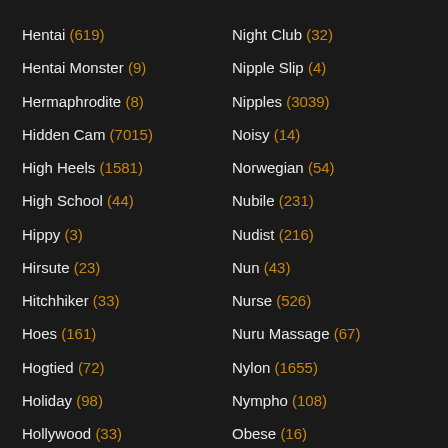Hentai (619)
Hentai Monster (9)
Hermaphrodite (8)
Hidden Cam (7015)
High Heels (1581)
High School (44)
Hippy (3)
Hirsute (23)
Hitchhiker (33)
Hoes (161)
Hogtied (72)
Holiday (98)
Hollywood (33)
Home (777)
Homeless (16)
Night Club (32)
Nipple Slip (4)
Nipples (3039)
Noisy (14)
Norwegian (54)
Nubile (231)
Nudist (216)
Nun (43)
Nurse (526)
Nuru Massage (67)
Nylon (1655)
Nympho (108)
Obese (16)
Office (703)
Oiled (1069)